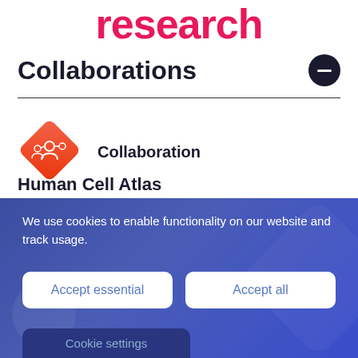research
Collaborations
[Figure (logo): Orange-red diamond-shaped icon with collaboration/network people symbol in white]
Collaboration
Human Cell Atlas
We use cookies to enable functionality on our website and track usage.
Accept essential
Accept all
Cookie settings